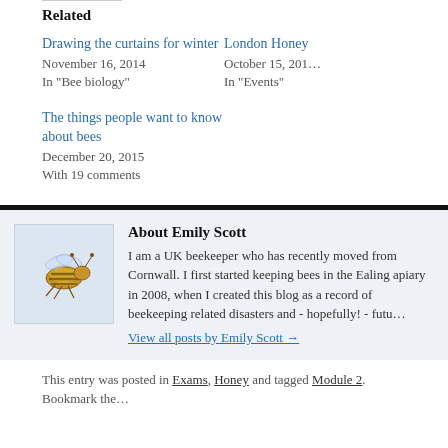Related
Drawing the curtains for winter
November 16, 2014
In "Bee biology"
London Honey
October 15, 201...
In "Events"
The things people want to know about bees
December 20, 2015
With 19 comments
About Emily Scott
I am a UK beekeeper who has recently moved from Cornwall. I first started keeping bees in the Ealing apiary in 2008, when I created this blog as a record of beekeeping related disasters and - hopefully! - futu...
View all posts by Emily Scott →
This entry was posted in Exams, Honey and tagged Module 2. Bookmark the...